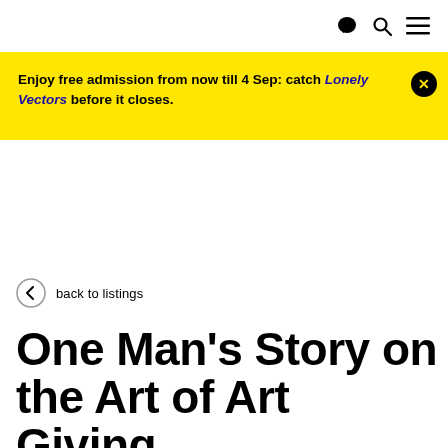[chat icon] [search icon] [menu icon]
Enjoy free admission from now till 4 Sep: catch Lonely Vectors before it closes.
back to listings
One Man's Story on the Art of Art Giving